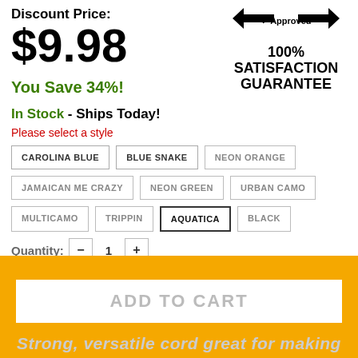Discount Price:
$9.98
You Save 34%!
In Stock - Ships Today!
Please select a style
CAROLINA BLUE
BLUE SNAKE
NEON ORANGE
JAMAICAN ME CRAZY
NEON GREEN
URBAN CAMO
MULTICAMO
TRIPPIN
AQUATICA
BLACK
Quantity: 1
[Figure (logo): Approved badge with arrows and 100% Satisfaction Guarantee text]
ADD TO CART
Strong, versatile cord great for making...